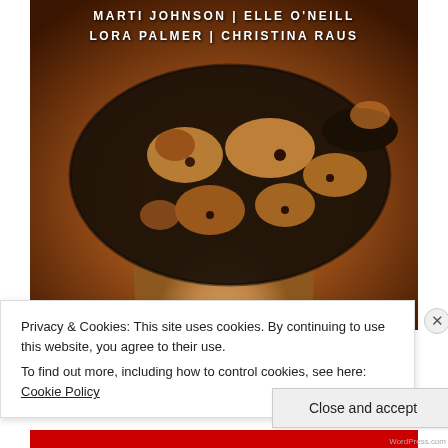[Figure (photo): Book cover image showing a ball python snake coiled on a human hand/arm, with warm orange-brown tones. Author names 'MARTI JOHNSON | ELLE O'NEILL' and 'LORA PALMER | CHRISTINA RAUS' appear at the top in white bold letters.]
Privacy & Cookies: This site uses cookies. By continuing to use this website, you agree to their use.
To find out more, including how to control cookies, see here: Cookie Policy
Close and accept